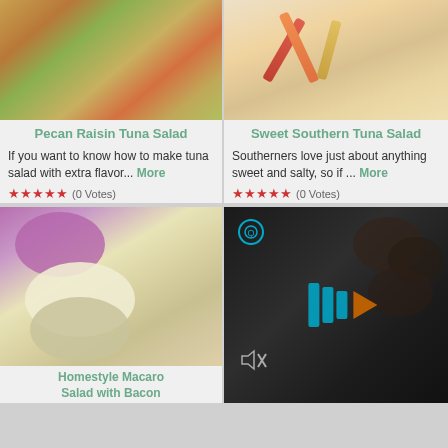[Figure (photo): Close-up photo of a tuna salad sandwich with lettuce on a bun]
Pecan Raisin Tuna Salad
If you want to know how to make tuna salad with extra flavor... More
★★★★★ (0 Votes)
[Figure (photo): Photo of colorful pasta or food items crossed]
Sweet Southern Tuna Salad
Southerners love just about anything sweet and salty, so if ... More
★★★★★ (0 Votes)
[Figure (photo): Photo of homestyle macaroni salad with bacon in a bowl]
Homestyle Macaroni Salad with Bacon
[Figure (screenshot): Video player overlay with play button and mute icon on dark background]